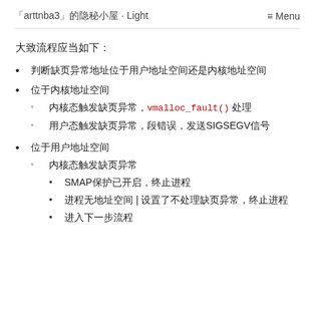「arttnba3」的隐秘小屋 · Light　　　　　　　　　　　　　　　　≡ Menu
大致流程应当如下：
判断缺页异常地址位于用户地址空间还是内核地址空间
位于内核地址空间
内核态触发缺页异常，vmalloc_fault() 处理
用户态触发缺页异常，段错误，发送SIGSEGV信号
位于用户地址空间
内核态触发缺页异常
SMAP保护已开启，终止进程
进程无地址空间 | 设置了不处理缺页异常，终止进程
进入下一步流程